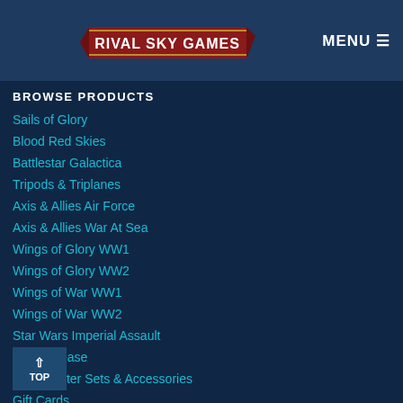RIVAL SKY GAMES | MENU
BROWSE PRODUCTS
Sails of Glory
Blood Red Skies
Battlestar Galactica
Tripods & Triplanes
Axis & Allies Air Force
Axis & Allies War At Sea
Wings of Glory WW1
Wings of Glory WW2
Wings of War WW1
Wings of War WW2
Star Wars Imperial Assault
New Release
Core/Starter Sets & Accessories
Gift Cards